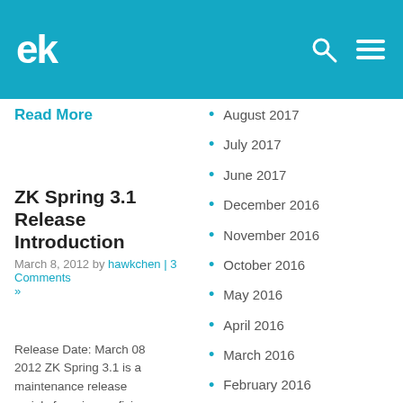ZK logo header with search and menu icons
Read More
August 2017
July 2017
June 2017
ZK Spring 3.1 Release Introduction
December 2016
March 8, 2012 by hawkchen | 3 Comments »
November 2016
October 2016
May 2016
April 2016
March 2016
Release Date: March 08 2012 ZK Spring 3.1 is a maintenance release mainly focusing on fixing bugs and upgrading
February 2016
January 2016
December 2015
November 2015